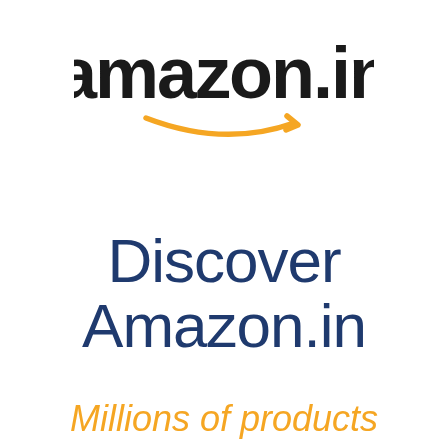[Figure (logo): Amazon.in logo with orange smile arrow beneath the text 'amazon.in' in black]
Discover Amazon.in
Millions of products